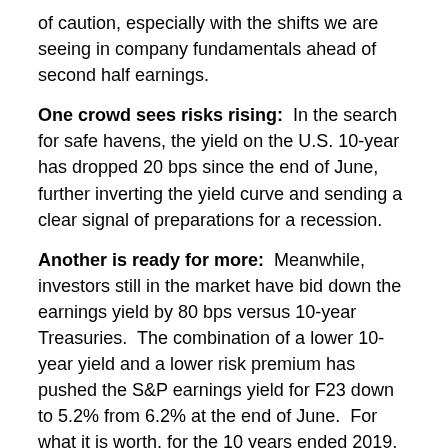of caution, especially with the shifts we are seeing in company fundamentals ahead of second half earnings.
One crowd sees risks rising: In the search for safe havens, the yield on the U.S. 10-year has dropped 20 bps since the end of June, further inverting the yield curve and sending a clear signal of preparations for a recession.
Another is ready for more: Meanwhile, investors still in the market have bid down the earnings yield by 80 bps versus 10-year Treasuries. The combination of a lower 10-year yield and a lower risk premium has pushed the S&P earnings yield for F23 down to 5.2% from 6.2% at the end of June. For what it is worth, for the 10 years ended 2019, a 5.2% earnings yield represents a top decile result, while a 6.2% yield is only slightly above the median of 6.0%.
Analysts, of course, are still bullish: According to current estimates, S&P 500 earnings are expected to grow 10% year-over-year in 2023. For reference, from